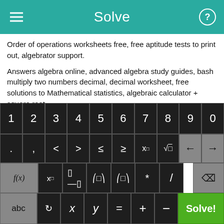Solve
Order of operations worksheets free, free aptitude tests to print out, algebrator support.
Answers algebra online, advanced algebra study guides, bash multiply two numbers decimal, decimal worksheet, free solutions to Mathematical statistics, algebraic calculator + square root.
Ti 83 log functions with base, ordered pairs in statistics for dummies, Ti-83 slope graph, logarithm function with square root,
[Figure (screenshot): Mobile math keyboard with digits 1-0, symbols (<,>,≤,≥, x^□, √□, backspace arrows), function keys (f(x), x□, fraction, absolute value, parentheses, *, /), bottom row (abc, rotate, x, y, =, +, -, Solve! button in green)]